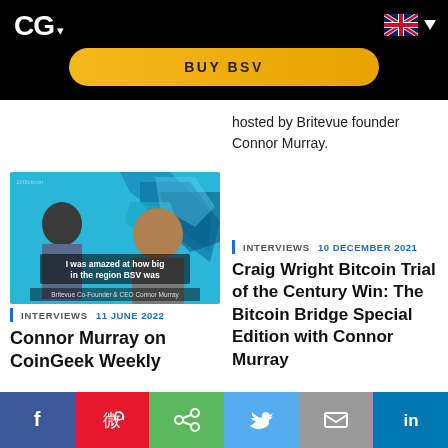CG ▾
[Figure (other): BUY BSV yellow button on black background]
hosted by Britevue founder Connor Murray.
[Figure (screenshot): Two men on a blue geometric background with caption 'I was amazed at how big in the region BSV was' and subtitle 'Britevue Co-Founder & CEO Connor Murray']
INTERVIEWS   11 JUNE 2022
Connor Murray on CoinGeek Weekly
INTERVIEWS   10 DECEMBER 2021
Craig Wright Bitcoin Trial of the Century Win: The Bitcoin Bridge Special Edition with Connor Murray
f  [weibo]  [share]  [twitter]  [mail]  in